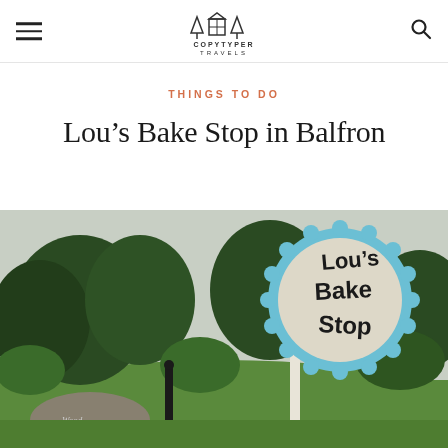COPYTYPER TRAVELS (logo with hamburger menu and search icon)
THINGS TO DO
Lou’s Bake Stop in Balfron
[Figure (photo): Outdoor photo showing a circular wooden sign reading 'Lou's Bake Stop' with a blue scalloped border, mounted on a white post. Green lawn, trees, and a wooden stone with text 'Woodend' visible in the background.]